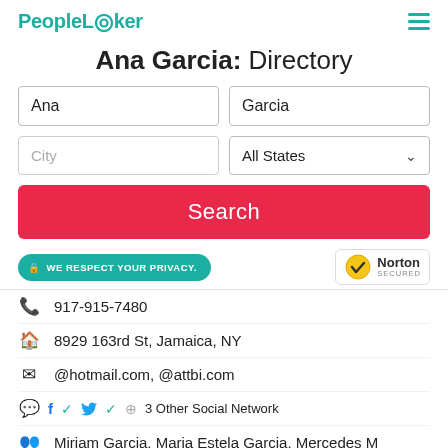PeopleLooker
Ana Garcia: Directory
Search form with fields: First name: Ana, Last name: Garcia, City (placeholder), All States (dropdown), Search button
WE RESPECT YOUR PRIVACY. | Norton SECURED
917-915-7480
8929 163rd St, Jamaica, NY
@hotmail.com, @attbi.com
Facebook checked, Twitter checked, +3 Other Social Network
Miriam Garcia, Maria Estela Garcia, Mercedes M